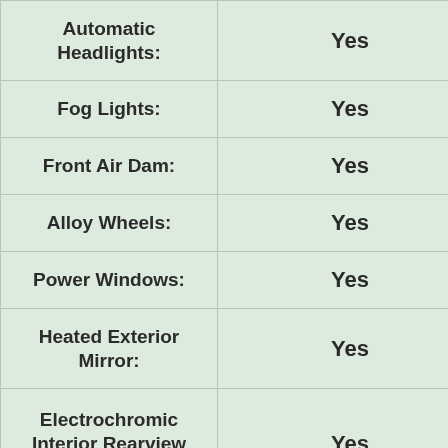| Feature | Value |
| --- | --- |
| Automatic Headlights: | Yes |
| Fog Lights: | Yes |
| Front Air Dam: | Yes |
| Alloy Wheels: | Yes |
| Power Windows: | Yes |
| Heated Exterior Mirror: | Yes |
| Electrochromic Interior Rearview Mirror: | Yes |
| Power Adjustable... |  |